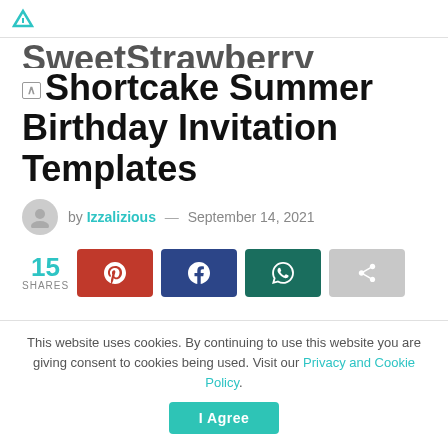[website header / logo bar]
SweetStrawberry Shortcake Summer Birthday Invitation Templates
by Izzalizious — September 14, 2021
15 SHARES [Pinterest, Facebook, WhatsApp, Share buttons]
When we talk about color of course there will be a lot that can be mentioned. Whether if they are primary colors to secondary colors. But actually all colors are still beautiful, they have their own meaning that maybe not many people know. They also have their own charm. For example, the
This website uses cookies. By continuing to use this website you are giving consent to cookies being used. Visit our Privacy and Cookie Policy. [I Agree button]